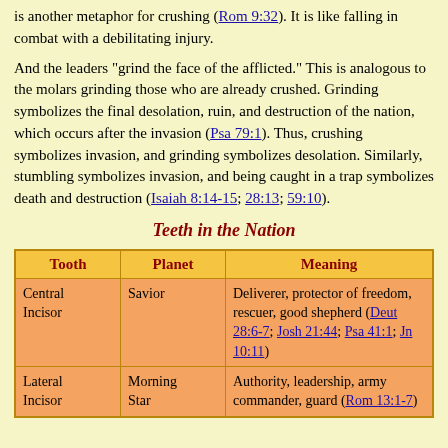is another metaphor for crushing (Rom 9:32).  It is like falling in combat with a debilitating injury.
And the leaders "grind the face of the afflicted."  This is analogous to the molars grinding those who are already crushed.  Grinding symbolizes the final desolation, ruin, and destruction of the nation, which occurs after the invasion (Psa 79:1).  Thus, crushing symbolizes invasion, and grinding symbolizes desolation.  Similarly, stumbling symbolizes invasion, and being caught in a trap symbolizes death and destruction (Isaiah 8:14-15; 28:13; 59:10).
Teeth in the Nation
| Tooth | Planet | Meaning |
| --- | --- | --- |
| Central Incisor | Savior | Deliverer, protector of freedom, rescuer, good shepherd (Deut 28:6-7; Josh 21:44; Psa 41:1; Jn 10:11) |
| Lateral Incisor | Morning Star | Authority, leadership, army commander, guard (Rom 13:1-7) |